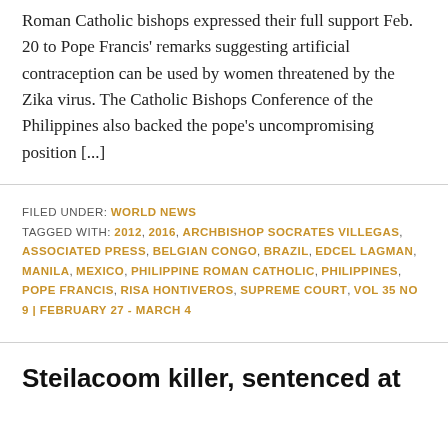Roman Catholic bishops expressed their full support Feb. 20 to Pope Francis' remarks suggesting artificial contraception can be used by women threatened by the Zika virus. The Catholic Bishops Conference of the Philippines also backed the pope's uncompromising position [...]
FILED UNDER: WORLD NEWS
TAGGED WITH: 2012, 2016, ARCHBISHOP SOCRATES VILLEGAS, ASSOCIATED PRESS, BELGIAN CONGO, BRAZIL, EDCEL LAGMAN, MANILA, MEXICO, PHILIPPINE ROMAN CATHOLIC, PHILIPPINES, POPE FRANCIS, RISA HONTIVEROS, SUPREME COURT, VOL 35 NO 9 | FEBRUARY 27 - MARCH 4
Steilacoom killer, sentenced at